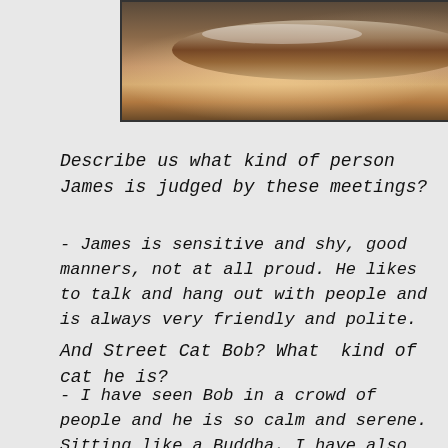[Figure (photo): Close-up photo of what appears to be a bowl or plate on a wooden surface, viewed from above at an angle.]
Describe us what kind of person James is judged by these meetings?
- James is sensitive and shy, good manners, not at all proud. He likes to talk and hang out with people and is always very friendly and polite.
And Street Cat Bob? What  kind of cat he is?
- I have seen Bob in a crowd of people and he is so calm and serene. Sitting like a Buddha. I have also wondered how he stands of the scarfs around his neck and not try to remove them. Well Bob is Bob,